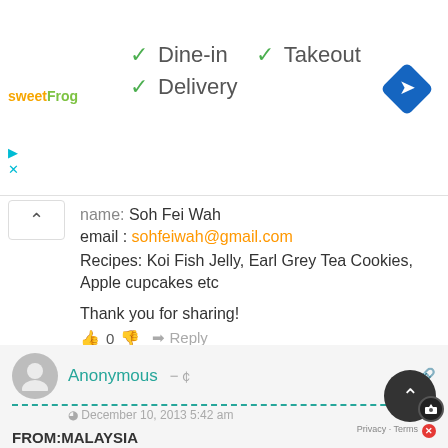[Figure (screenshot): Top banner with sweetFrog logo, checkmarks for Dine-in, Takeout, Delivery options, and a blue navigation diamond icon on the right]
name: Soh Fei Wah
email : sohfeiwah@gmail.com
Recipes: Koi Fish Jelly, Earl Grey Tea Cookies, Apple cupcakes etc

Thank you for sharing!
Anonymous
December 10, 2013 5:42 am
FROM:MALAYSIA
⬜⬜Dim Sum – Steamed Spare Ribs

Regards,
CCY | yoonbebee520@yahoo.com